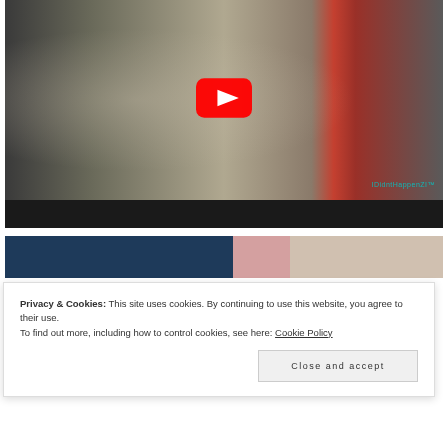[Figure (screenshot): YouTube video embed showing a man in a white shirt and striped trousers sitting outdoors near a bicycle, with a red YouTube play button overlay. Watermark text 'IDidntHappenZI' in bottom right corner. Black bar at bottom of player.]
[Figure (screenshot): Partial view of another image/content below the video showing a dark navy blue section and photo thumbnails (appears to be a gallery or related content strip).]
Privacy & Cookies: This site uses cookies. By continuing to use this website, you agree to their use.
To find out more, including how to control cookies, see here: Cookie Policy
Close and accept